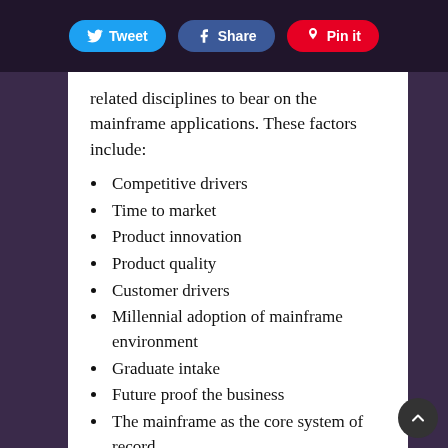Tweet  Share  Pin it
related disciplines to bear on the mainframe applications. These factors include:
Competitive drivers
Time to market
Product innovation
Product quality
Customer drivers
Millennial adoption of mainframe environment
Graduate intake
Future proof the business
The mainframe as the core system of record
These solutions have supported mainframe